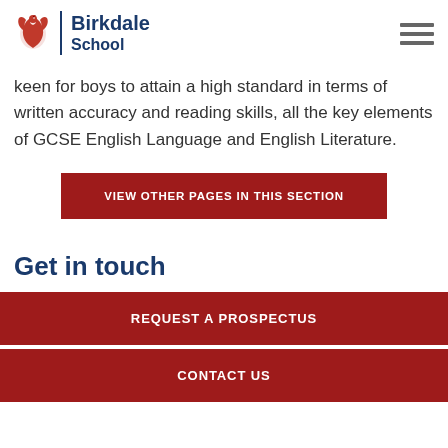[Figure (logo): Birkdale School logo with red phoenix/griffin icon and blue text reading Birkdale School]
keen for boys to attain a high standard in terms of written accuracy and reading skills, all the key elements of GCSE English Language and English Literature.
VIEW OTHER PAGES IN THIS SECTION
Get in touch
REQUEST A PROSPECTUS
CONTACT US